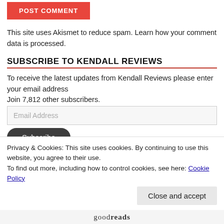POST COMMENT
This site uses Akismet to reduce spam. Learn how your comment data is processed.
SUBSCRIBE TO KENDALL REVIEWS
To receive the latest updates from Kendall Reviews please enter your email address
Join 7,812 other subscribers.
Email Address
Subscribe
Privacy & Cookies: This site uses cookies. By continuing to use this website, you agree to their use.
To find out more, including how to control cookies, see here: Cookie Policy
Close and accept
[Figure (logo): Goodreads logo at the bottom of the page]